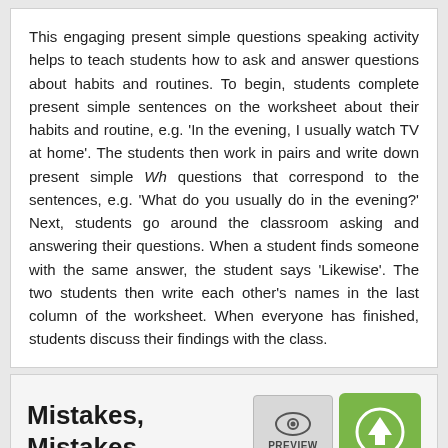This engaging present simple questions speaking activity helps to teach students how to ask and answer questions about habits and routines. To begin, students complete present simple sentences on the worksheet about their habits and routine, e.g. 'In the evening, I usually watch TV at home'. The students then work in pairs and write down present simple Wh questions that correspond to the sentences, e.g. 'What do you usually do in the evening?' Next, students go around the classroom asking and answering their questions. When a student finds someone with the same answer, the student says 'Likewise'. The two students then write each other's names in the last column of the worksheet. When everyone has finished, students discuss their findings with the class.
Mistakes, Mistakes
ESL Present Simple Activity - Grammar